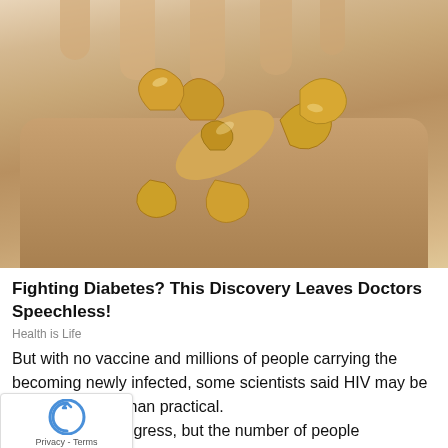[Figure (photo): A hand holding a pile of cashew nuts, close-up photograph]
Fighting Diabetes? This Discovery Leaves Doctors Speechless!
Health is Life
But with no vaccine and millions of people carrying the becoming newly infected, some scientists said HIV may be idealistic rather than practical.
"We've made progress, but the number of people